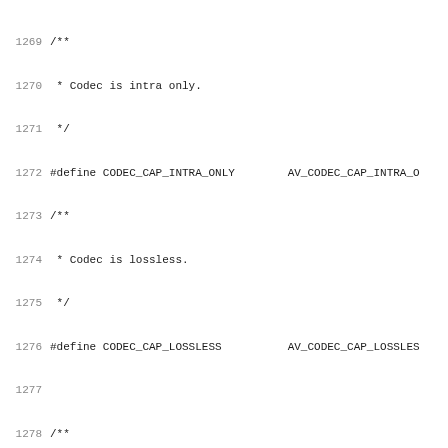Source code listing lines 1269-1301, C header file with #define macros for codec capabilities and MB types.